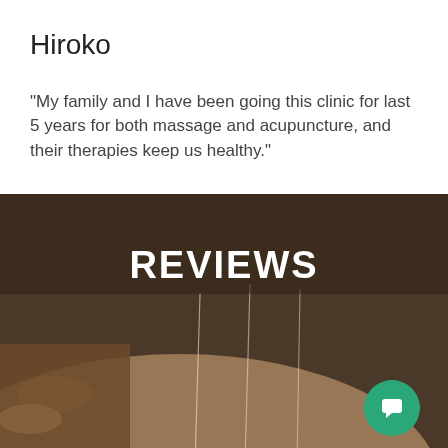Hiroko
"My family and I have been going this clinic for last 5 years for both massage and acupuncture, and their therapies keep us healthy."
[Figure (photo): Acupuncture photo background with dark brown overlay showing needles inserted into skin, with REVIEWS text overlay and a green chat button in bottom right corner]